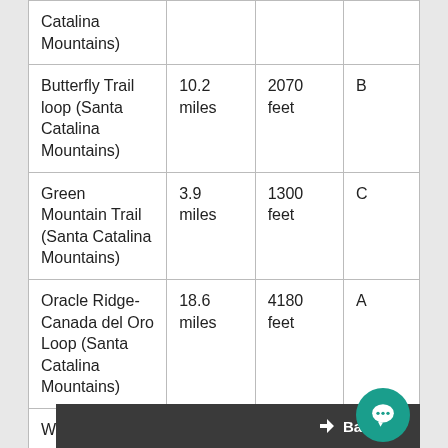| Trail | Distance | Elevation Gain | Difficulty |
| --- | --- | --- | --- |
| Catalina Mountains) |  |  |  |
| Butterfly Trail loop (Santa Catalina Mountains) | 10.2 miles | 2070 feet | B |
| Green Mountain Trail (Santa Catalina Mountains) | 3.9 miles | 1300 feet | C |
| Oracle Ridge-Canada del Oro Loop (Santa Catalina Mountains) | 18.6 miles | 4180 feet | A |
| Wilderness | 8.6 | 1800 |  |